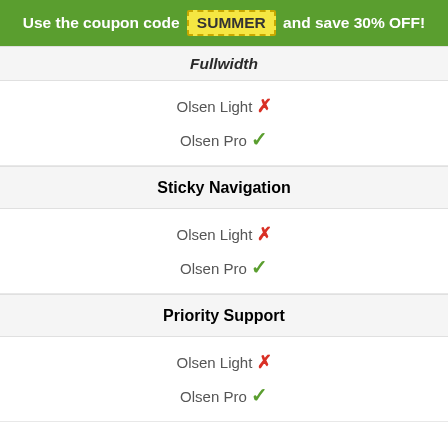Use the coupon code SUMMER and save 30% OFF!
Fullwidth
Olsen Light ✗
Olsen Pro ✓
Sticky Navigation
Olsen Light ✗
Olsen Pro ✓
Priority Support
Olsen Light ✗
Olsen Pro ✓